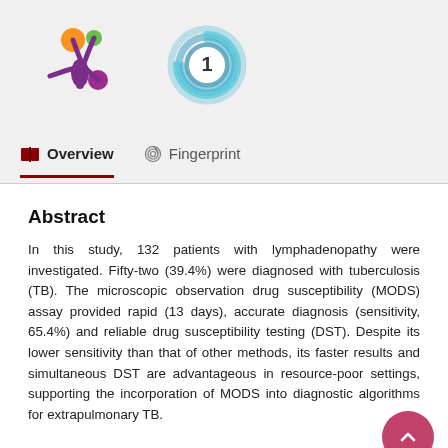[Figure (logo): Two logos: a colorful asterisk/snowflake logo with orange, green, purple dots and a circular blue swirl logo with number 1]
Overview
Fingerprint
Abstract
In this study, 132 patients with lymphadenopathy were investigated. Fifty-two (39.4%) were diagnosed with tuberculosis (TB). The microscopic observation drug susceptibility (MODS) assay provided rapid (13 days), accurate diagnosis (sensitivity, 65.4%) and reliable drug susceptibility testing (DST). Despite its lower sensitivity than that of other methods, its faster results and simultaneous DST are advantageous in resource-poor settings, supporting the incorporation of MODS into diagnostic algorithms for extrapulmonary TB.